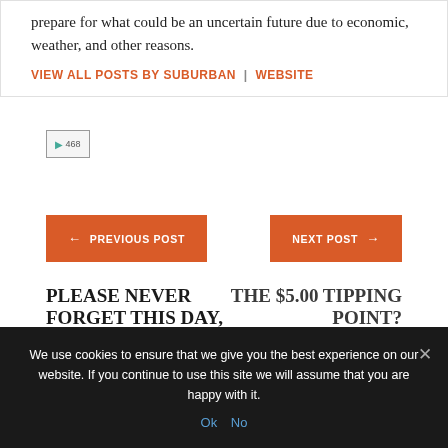and self-reliance out there to help others prepare for what could be an uncertain future due to economic, weather, and other reasons.
VIEW ALL POSTS BY SUBURBAN | WEBSITE
[Figure (photo): Broken image placeholder labeled '468']
← PREVIOUS POST
NEXT POST →
PLEASE NEVER FORGET THIS DAY, AND TAKE A MOMENT TO
THE $5.00 TIPPING POINT?
We use cookies to ensure that we give you the best experience on our website. If you continue to use this site we will assume that you are happy with it.
Ok  No